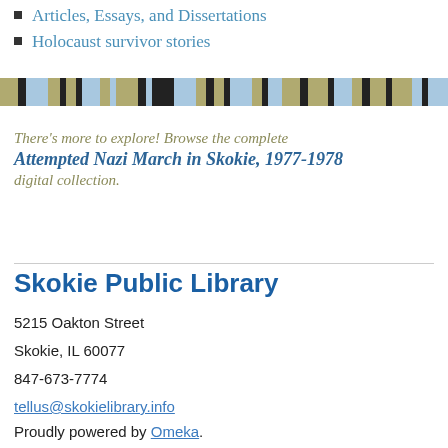Articles, Essays, and Dissertations
Holocaust survivor stories
[Figure (illustration): Decorative horizontal banner with repeating colored blocks in blue, olive/tan, and dark brown/black arranged in a mosaic stripe pattern]
There's more to explore! Browse the complete Attempted Nazi March in Skokie, 1977-1978 digital collection.
Skokie Public Library
5215 Oakton Street
Skokie, IL 60077
847-673-7774
tellus@skokielibrary.info
Proudly powered by Omeka.